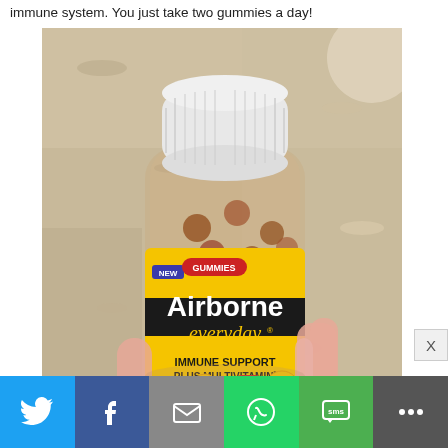immune system. You just take two gummies a day!
[Figure (photo): Hand holding a bottle of Airborne Everyday Gummies - Immune Support Plus Multivitamin, with a black and yellow label, white cap, clear bottle containing gummy vitamins, against a granite countertop background.]
[Figure (infographic): Social media sharing bar with icons for Twitter, Facebook, Email, WhatsApp, SMS, and More options.]